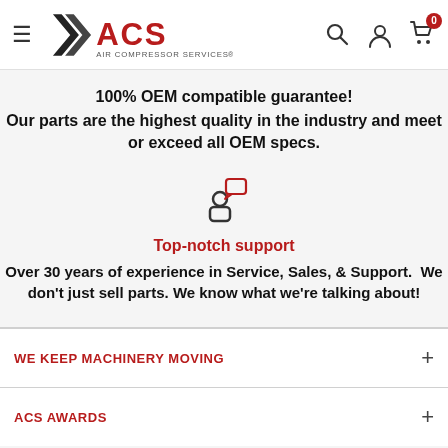ACS Air Compressor Services — navigation header with hamburger menu, logo, search, account, and cart icons
100% OEM compatible guarantee!
Our parts are the highest quality in the industry and meet or exceed all OEM specs.
[Figure (illustration): Icon of a person with a speech/chat bubble above them, indicating customer support]
Top-notch support
Over 30 years of experience in Service, Sales, & Support.  We don't just sell parts. We know what we're talking about!
WE KEEP MACHINERY MOVING
ACS AWARDS